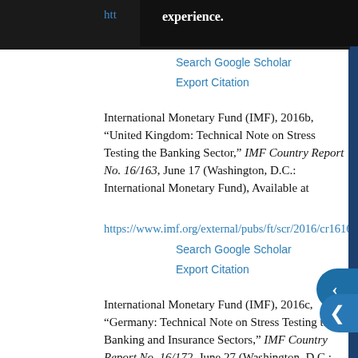experience. [partial URL ending in 665.pdf]
Search Google Scholar | Export Citation
International Monetary Fund (IMF), 2016b, “United Kingdom: Technical Note on Stress Testing the Banking Sector,” IMF Country Report No. 16/163, June 17 (Washington, D.C.: International Monetary Fund), Available at https://www.imf.org/external/pubs/ft/scr/2016/cr16163.pdf.
Search Google Scholar | Export Citation
International Monetary Fund (IMF), 2016c, “Germany: Technical Note on Stress Testing the Banking and Insurance Sectors,” IMF Country Report No. 16/172, June 27 (Washington, D.C.: International Monetary Fund), Available at https://www.imf.org/external/pubs/ft/scr/2016/cr16172.pdf.
Search Google Scholar | Export Citation